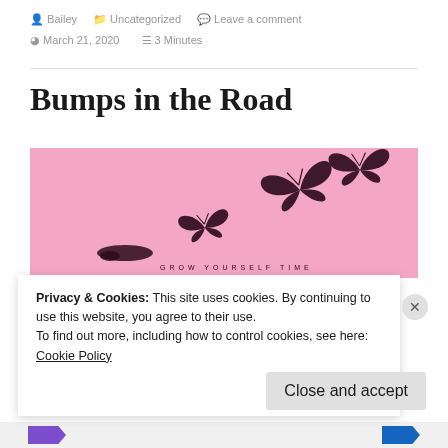Bailey  Uncategorized  Leave a comment  March 21, 2020  3 Minutes
Bumps in the Road
[Figure (illustration): Pink background with three butterflies in various stages of flight, and small text at the bottom reading 'GROW YOURSELF TIME']
Privacy & Cookies: This site uses cookies. By continuing to use this website, you agree to their use.
To find out more, including how to control cookies, see here: Cookie Policy
Close and accept